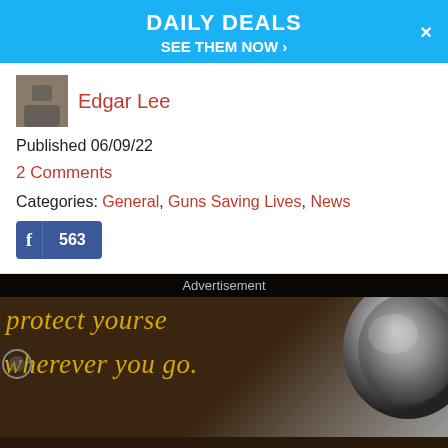DAILY DEALS
SEE THEM NOW >
Edgar Lee
Published 06/09/22
2 Comments
Categories: General, Guns Saving Lives, News
[Figure (other): Facebook share button showing count 563]
[Figure (photo): Advertisement image with dark background and golden italic text reading 'protect yourself wherever you go.' with a metallic orb/gun barrel visual on the right side]